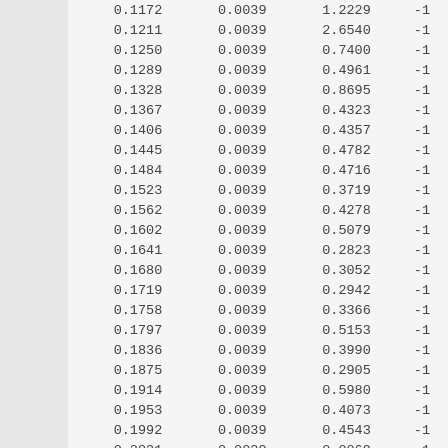| 0.1172 | 0.0039 | 1.2229 | -1 |
| 0.1211 | 0.0039 | 2.6540 | -1 |
| 0.1250 | 0.0039 | 0.7400 | -1 |
| 0.1289 | 0.0039 | 0.4961 | -1 |
| 0.1328 | 0.0039 | 0.8695 | -1 |
| 0.1367 | 0.0039 | 0.4323 | -1 |
| 0.1406 | 0.0039 | 0.4357 | -1 |
| 0.1445 | 0.0039 | 0.4782 | -1 |
| 0.1484 | 0.0039 | 0.4716 | -1 |
| 0.1523 | 0.0039 | 0.3719 | -1 |
| 0.1562 | 0.0039 | 0.4278 | -1 |
| 0.1602 | 0.0039 | 0.5079 | -1 |
| 0.1641 | 0.0039 | 0.2823 | -1 |
| 0.1680 | 0.0039 | 0.3052 | -1 |
| 0.1719 | 0.0039 | 0.2942 | -1 |
| 0.1758 | 0.0039 | 0.3366 | -1 |
| 0.1797 | 0.0039 | 0.5153 | -1 |
| 0.1836 | 0.0039 | 0.3990 | -1 |
| 0.1875 | 0.0039 | 0.2905 | -1 |
| 0.1914 | 0.0039 | 0.5980 | -1 |
| 0.1953 | 0.0039 | 0.4073 | -1 |
| 0.1992 | 0.0039 | 0.4543 | -1 |
| 0.2031 | 0.0039 | 0.0069 | -1 |
| 0.2070 | 0.0039 | 0.0056 | -1 |
| 0.2109 | 0.0039 | 0.0046 | -1 |